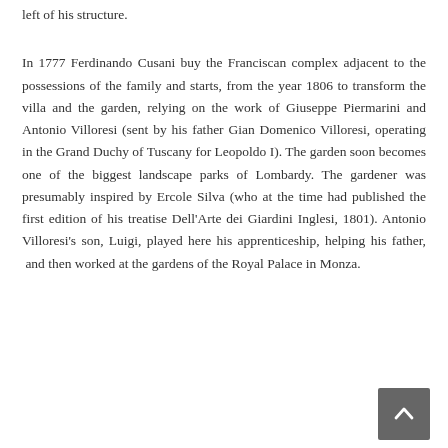left of his structure.
In 1777 Ferdinando Cusani buy the Franciscan complex adjacent to the possessions of the family and starts, from the year 1806 to transform the villa and the garden, relying on the work of Giuseppe Piermarini and Antonio Villoresi (sent by his father Gian Domenico Villoresi, operating in the Grand Duchy of Tuscany for Leopoldo I). The garden soon becomes one of the biggest landscape parks of Lombardy. The gardener was presumably inspired by Ercole Silva (who at the time had published the first edition of his treatise Dell'Arte dei Giardini Inglesi, 1801). Antonio Villoresi's son, Luigi, played here his apprenticeship, helping his father, and then worked at the gardens of the Royal Palace in Monza.